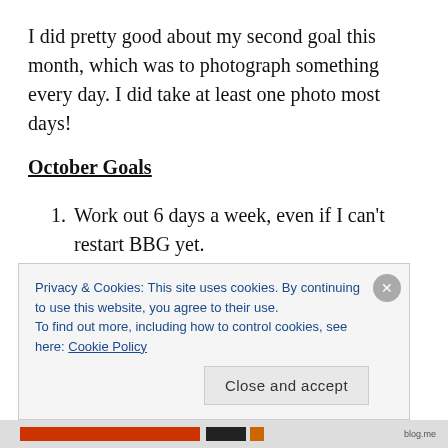I did pretty good about my second goal this month, which was to photograph something every day. I did take at least one photo most days!
October Goals
Work out 6 days a week, even if I can't restart BBG yet.
Continue working on my photography,
Privacy & Cookies: This site uses cookies. By continuing to use this website, you agree to their use.
To find out more, including how to control cookies, see here: Cookie Policy
Close and accept